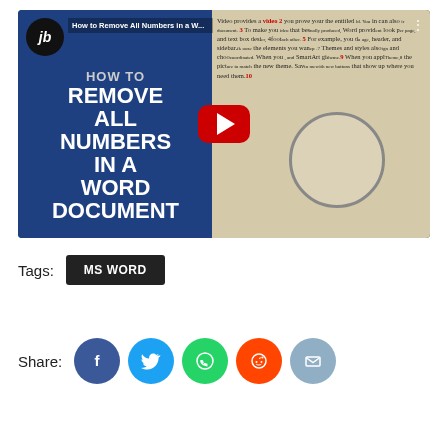[Figure (screenshot): YouTube video thumbnail showing 'How to Remove All Numbers in a Word Document' with a play button overlay and magnifying glass effect on document text]
Tags:
MS WORD
Share:
[Figure (infographic): Social share icons: Facebook (blue), Twitter (light blue), WhatsApp (green), Reddit (orange-red), Email (grey-blue)]